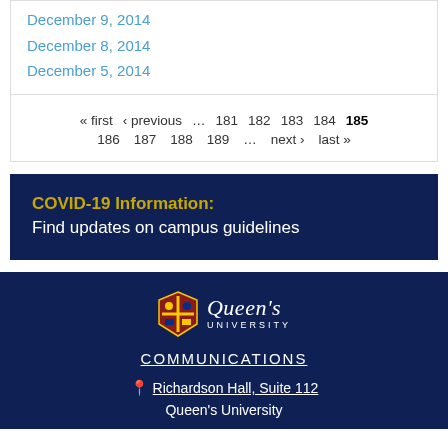December 9, 2014
December 8, 2014
December 5, 2014
« first  ‹ previous  …  181  182  183  184  185  186  187  188  189  …  next ›  last »
COVID-19 Information: Find updates on campus guidelines
[Figure (logo): Queen's University logo with shield and wordmark]
COMMUNICATIONS
Richardson Hall, Suite 112
Queen's University